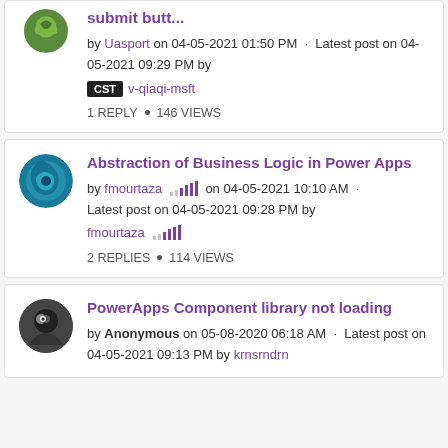submit butt... by Uasport on 04-05-2021 01:50 PM · Latest post on 04-05-2021 09:29 PM by CST v-qiaqi-msft. 1 REPLY · 146 VIEWS
Abstraction of Business Logic in Power Apps by fmourtaza on 04-05-2021 10:10 AM · Latest post on 04-05-2021 09:28 PM by fmourtaza. 2 REPLIES · 114 VIEWS
PowerApps Component library not loading by Anonymous on 05-08-2020 06:18 AM · Latest post on 04-05-2021 09:13 PM by krnsrndrn